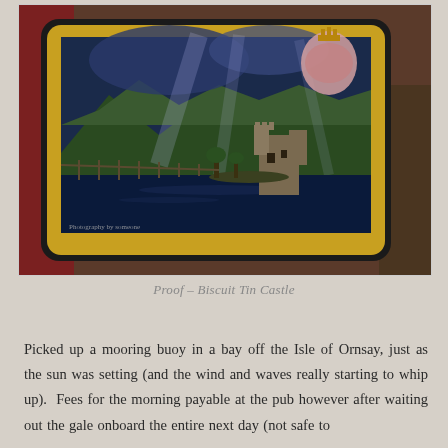[Figure (photo): A decorative biscuit tin or tray displayed on a stand, featuring a photograph of a Scottish castle (ruins) by a loch with mountains in the background and a heraldic crest in the top right corner. The tray has a gold/brass border.]
Proof – Biscuit Tin Castle
Picked up a mooring buoy in a bay off the Isle of Ornsay, just as the sun was setting (and the wind and waves really starting to whip up).  Fees for the morning payable at the pub however after waiting out the gale onboard the entire next day (not safe to